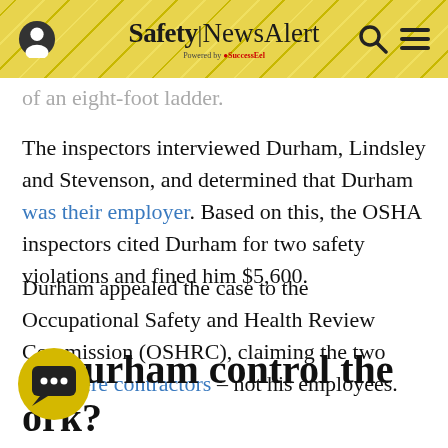Safety|NewsAlert — Powered by SuccessEel
of an eight-foot ladder.
The inspectors interviewed Durham, Lindsley and Stevenson, and determined that Durham was their employer. Based on this, the OSHA inspectors cited Durham for two safety violations and fined him $5,600.
Durham appealed the case to the Occupational Safety and Health Review Commission (OSHRC), claiming the two men were contractors – not his employees.
d Durham control the ork?